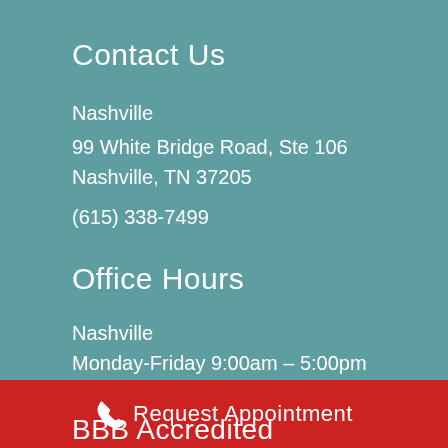Contact Us
Nashville
99 White Bridge Road, Ste 106
Nashville, TN 37205
(615) 338-7499
Office Hours
Nashville
Monday-Friday 9:00am – 5:00pm
Saturday & Sunday Closed
BBB Accredited
Request Appointment